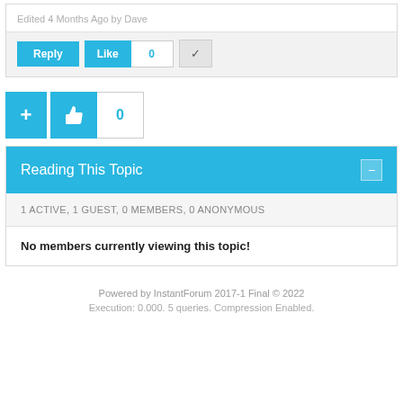Edited 4 Months Ago by Dave
Reply | Like 0 | ✓
+ | 👍 | 0
Reading This Topic
1 ACTIVE, 1 GUEST, 0 MEMBERS, 0 ANONYMOUS
No members currently viewing this topic!
Powered by InstantForum 2017-1 Final © 2022
Execution: 0.000. 5 queries. Compression Enabled.